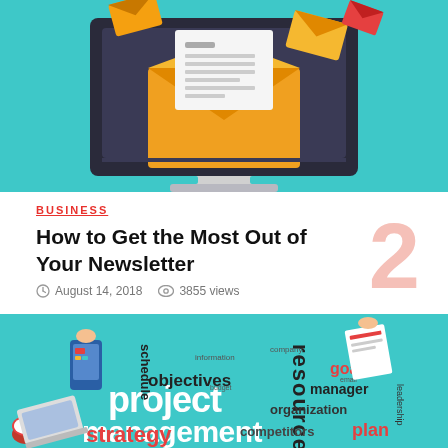[Figure (illustration): Illustration of a computer monitor with an email envelope open showing a letter/document, with additional envelopes flying around, on a teal background]
BUSINESS
How to Get the Most Out of Your Newsletter
August 14, 2018  3855 views
[Figure (illustration): Business project management word cloud illustration with hands holding devices, words including project, management, strategy, objectives, resources, goals, organization, competitors, plan, schedule on teal background]